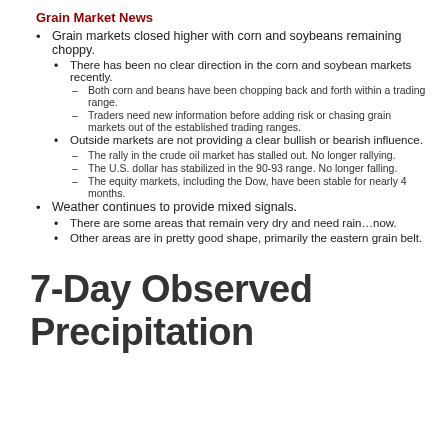Grain Market News
Grain markets closed higher with corn and soybeans remaining choppy.
There has been no clear direction in the corn and soybean markets recently.
Both corn and beans have been chopping back and forth within a trading range.
Traders need new information before adding risk or chasing grain markets out of the established trading ranges.
Outside markets are not providing a clear bullish or bearish influence.
The rally in the crude oil market has stalled out.  No longer rallying.
The U.S. dollar has stabilized in the 90-93 range.  No longer falling.
The equity markets, including the Dow, have been stable for nearly 4 months.
Weather continues to provide mixed signals.
There are some areas that remain very dry and need rain…now.
Other areas are in pretty good shape, primarily the eastern grain belt.
7-Day Observed Precipitation